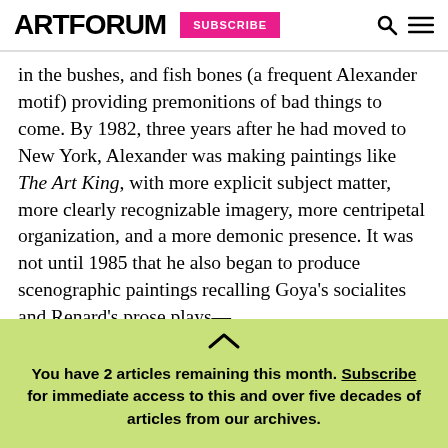ARTFORUM | SUBSCRIBE
in the bushes, and fish bones (a frequent Alexander motif) providing premonitions of bad things to come. By 1982, three years after he had moved to New York, Alexander was making paintings like The Art King, with more explicit subject matter, more clearly recognizable imagery, more centripetal organization, and a more demonic presence. It was not until 1985 that he also began to produce scenographic paintings recalling Goya's socialites and...
You have 2 articles remaining this month. Subscribe for immediate access to this and over five decades of articles from our archives.